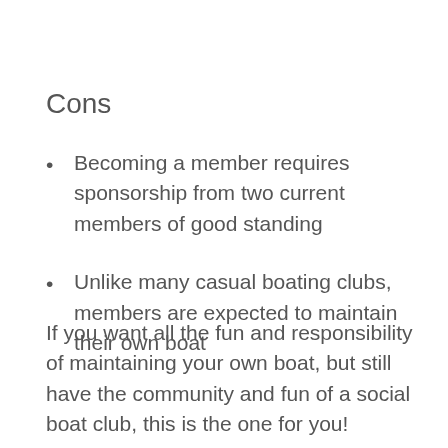Cons
Becoming a member requires sponsorship from two current members of good standing
Unlike many casual boating clubs, members are expected to maintain their own boat
If you want all the fun and responsibility of maintaining your own boat, but still have the community and fun of a social boat club, this is the one for you!